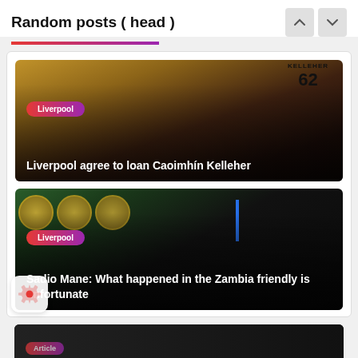Random posts ( head )
[Figure (screenshot): News card with yellow jersey showing KELLEHER 62, with Liverpool tag overlay and article title 'Liverpool agree to loan Caoimhín Kelleher']
[Figure (screenshot): News card with people at press conference with African football federation logos, with Liverpool tag and title 'Sadio Mane: What happened in the Zambia friendly is unfortunate']
[Figure (screenshot): Partially visible third news card at bottom]